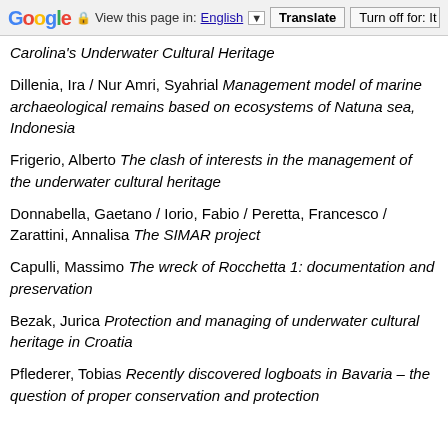Google – View this page in: English [▼] Translate Turn off for: It
Carolina's Underwater Cultural Heritage
Dillenia, Ira / Nur Amri, Syahrial Management model of marine archaeological remains based on ecosystems of Natuna sea, Indonesia
Frigerio, Alberto The clash of interests in the management of the underwater cultural heritage
Donnabella, Gaetano / Iorio, Fabio / Peretta, Francesco / Zarattini, Annalisa The SIMAR project
Capulli, Massimo The wreck of Rocchetta 1: documentation and preservation
Bezak, Jurica Protection and managing of underwater cultural heritage in Croatia
Pflederer, Tobias Recently discovered logboats in Bavaria – the question of proper conservation and protection